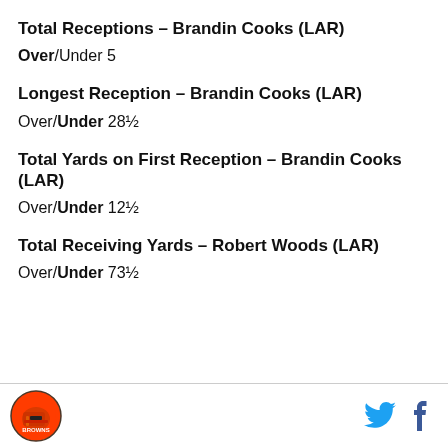Total Receptions – Brandin Cooks (LAR)
Over/Under 5
Longest Reception – Brandin Cooks (LAR)
Over/Under 28½
Total Yards on First Reception – Brandin Cooks (LAR)
Over/Under 12½
Total Receiving Yards – Robert Woods (LAR)
Over/Under 73½
Cleveland Browns logo | Twitter icon | Facebook icon